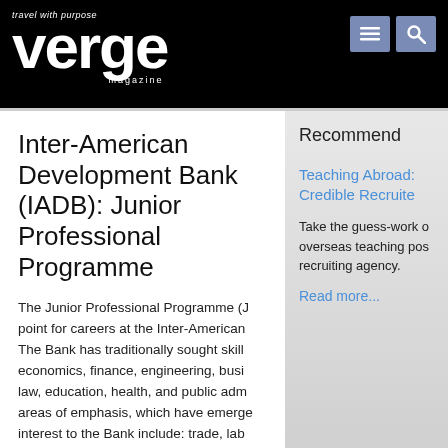travel with purpose verge magazine
Inter-American Development Bank (IADB): Junior Professional Programme
The Junior Professional Programme (J... point for careers at the Inter-American... The Bank has traditionally sought skill... economics, finance, engineering, busi... law, education, health, and public adm... areas of emphasis, which have emerge... interest to the Bank include: trade, lab... the state, governance, the environmen... development. Each year the Bank dete
Recommend
Teaching Abroad: Credible Recruite
Take the guess-work o... overseas teaching pos... recruiting agency.
Read more...